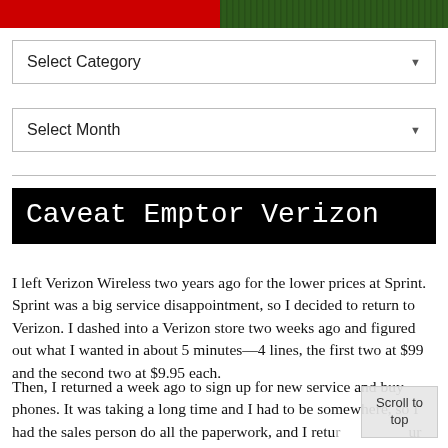[Figure (photo): Two banner images at the top: left side is a solid red background, right side is a dark green textured background (grass or turf)]
Select Category ▼
Select Month ▼
Caveat Emptor Verizon
I left Verizon Wireless two years ago for the lower prices at Sprint. Sprint was a big service disappointment, so I decided to return to Verizon. I dashed into a Verizon store two weeks ago and figured out what I wanted in about 5 minutes—4 lines, the first two at $99 and the second two at $9.95 each.
Then, I returned a week ago to sign up for new service and buy phones. It was taking a long time and I had to be somewhere, so I had the sales person do all the paperwork, and I retur[ned an ho]ur later to pick up the phones and sign on the dotted li[ne.]
Scroll to top